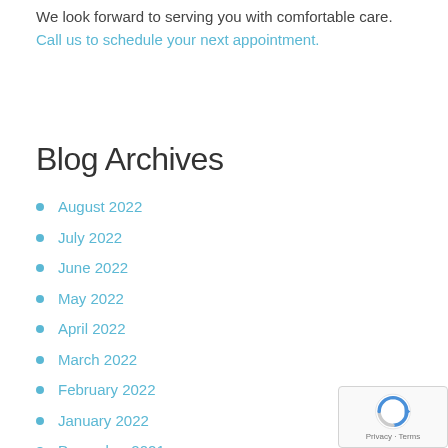We look forward to serving you with comfortable care. Call us to schedule your next appointment.
Blog Archives
August 2022
July 2022
June 2022
May 2022
April 2022
March 2022
February 2022
January 2022
December 2021
November 2021
October 2021